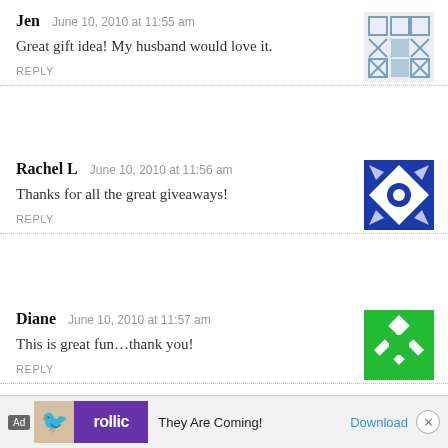Jen  June 10, 2010 at 11:55 am
Great gift idea! My husband would love it.
REPLY
Rachel L  June 10, 2010 at 11:56 am
Thanks for all the great giveaways!
REPLY
Diane  June 10, 2010 at 11:57 am
This is great fun…thank you!
REPLY
Shanna C  June 10, 2010 at 11:58 am
Hubby uses something like this now, but it isn't Oral-B…I really think he would like to have a new one.
REPLY
[Figure (other): Ad banner for Rollic game - They Are Coming! with Download link]